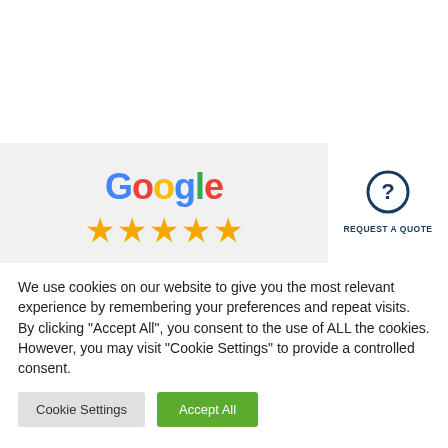[Figure (logo): Google logo text with colorful letters and 5 gold stars below it, on a light grey background]
[Figure (infographic): Request A Quote button with a dark blue question mark circle icon and label text]
We use cookies on our website to give you the most relevant experience by remembering your preferences and repeat visits. By clicking "Accept All", you consent to the use of ALL the cookies. However, you may visit "Cookie Settings" to provide a controlled consent.
Cookie Settings
Accept All